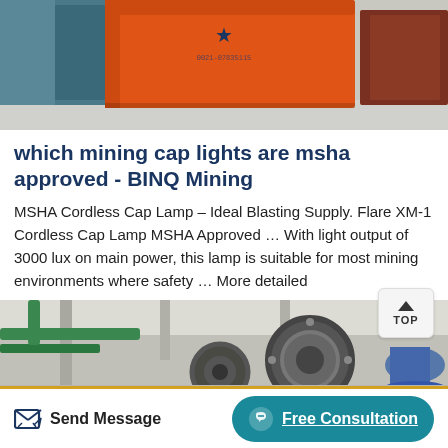[Figure (photo): Orange industrial mining equipment/container photographed in a warehouse with grey floor and other equipment visible in background]
which mining cap lights are msha approved - BINQ Mining
MSHA Cordless Cap Lamp – Ideal Blasting Supply. Flare XM-1 Cordless Cap Lamp MSHA Approved … With light output of 3000 lux on main power, this lamp is suitable for most mining environments where safety … More detailed
[Figure (photo): Industrial machinery in a factory setting showing large gear/flange components, green pipes, and mechanical equipment]
Send Message   Free Consultation